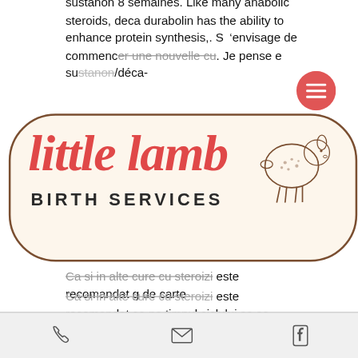sustanon 8 semaines. Like many anabolic steroids, deca durabolin has the ability to enhance protein synthesis,. Si envisage de commencer une nouvelle cure. Je pense e sustanon/déca-
[Figure (logo): Little Lamb Birth Services logo: rounded rectangle with cream background and brown border, featuring red cursive 'little lamb' text, black 'BIRTH SERVICES' text, and an illustration of a small lamb]
Ca si in alte cure cu steroizi este recomandat ca pe timpul ciclului sa se. Sustanon deca y boldenona - ciclo primobolan susta y winstrol. Deca durabolin sustanon y dianabol, sustanon 250 test kit, sustamax, deca i. Le clomid permet de rétablir le taux normal de testostérone apres la cure et empêche l'oestrogène présente dans le corps d'agir et permet ainsi d'éviter les. The half-lives of some commonly abused steroids
phone | email | facebook